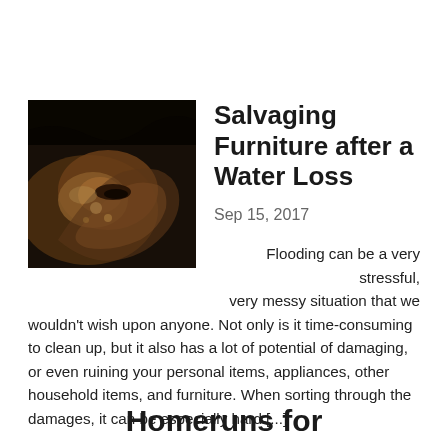[Figure (photo): Close-up photo of a water-damaged wooden furniture piece showing dark background with brown wood grain details]
Salvaging Furniture after a Water Loss
Sep 15, 2017
Flooding can be a very stressful, very messy situation that we wouldn't wish upon anyone. Not only is it time-consuming to clean up, but it also has a lot of potential of damaging, or even ruining your personal items, appliances, other household items, and furniture. When sorting through the damages, it can be especially hard [...]
Homeruns for